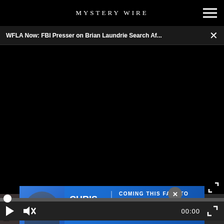MYSTERY WIRE
WFLA Now: FBI Presser on Brian Laundrie Search Af...
[Figure (screenshot): Black video player area showing a paused video with no content visible, progress bar at start, and playback controls including play button, mute icon (muted), time display 00:00, and fullscreen button]
[Figure (screenshot): Bottom thumbnail strip showing two video thumbnails side by side. Left thumbnail has partial text 'DM', 'Mo' visible. Right thumbnail has partial text visible. An advertisement banner overlays the bottom showing Chris Cuomo coming to NewsNation this fall.]